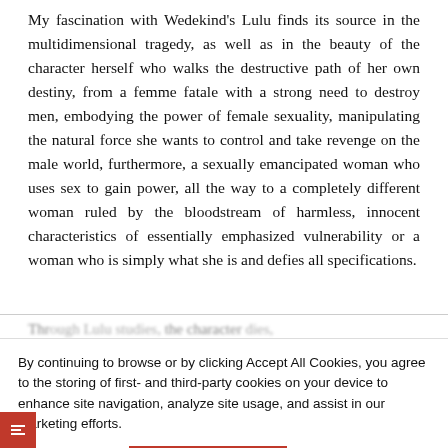My fascination with Wedekind's Lulu finds its source in the multidimensional tragedy, as well as in the beauty of the character herself who walks the destructive path of her own destiny, from a femme fatale with a strong need to destroy men, embodying the power of female sexuality, manipulating the natural force she wants to control and take revenge on the male world, furthermore, a sexually emancipated woman who uses sex to gain power, all the way to a completely different woman ruled by the bloodstream of harmless, innocent characteristics of essentially emphasized vulnerability or a woman who is simply what she is and defies all specifications.
Through Lulu studies, the character dies, Lulu nature turns into that of a man on own Iden not only does not see her as she really is, but tries to project onto her what he wants her to be.
By continuing to browse or by clicking Accept All Cookies, you agree to the storing of first- and third-party cookies on your device to enhance site navigation, analyze site usage, and assist in our marketing efforts.